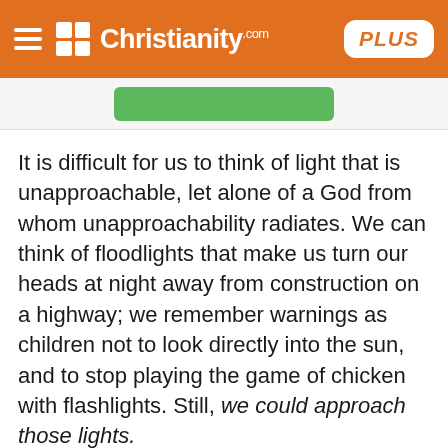Christianity.com PLUS
[Figure (other): Green button/banner partially visible below header]
It is difficult for us to think of light that is unapproachable, let alone of a God from whom unapproachability radiates. We can think of floodlights that make us turn our heads at night away from construction on a highway; we remember warnings as children not to look directly into the sun, and to stop playing the game of chicken with flashlights. Still, we could approach those lights.